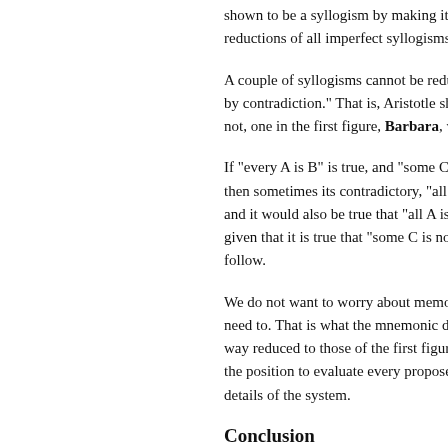shown to be a syllogism by making it reductions of all imperfect syllogisms.
A couple of syllogisms cannot be reduced by contradiction." That is, Aristotle shows not, one in the first figure, Barbara, w
If "every A is B" is true, and "some C then sometimes its contradictory, "all C and it would also be true that "all A is given that it is true that "some C is not follow.
We do not want to worry about memo need to. That is what the mnemonic de way reduced to those of the first figure the position to evaluate every propose details of the system.
Conclusion
That concludes our discussion of the i logic, so we are now ready to move on